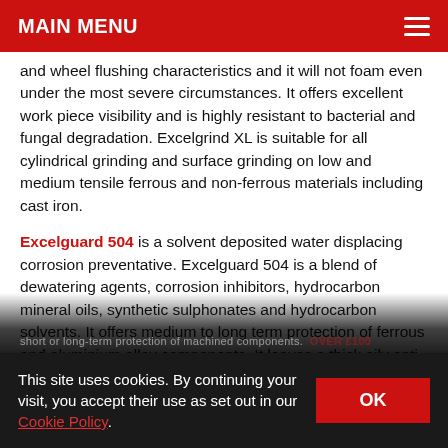MAIN MENU
and wheel flushing characteristics and it will not foam even under the most severe circumstances. It offers excellent work piece visibility and is highly resistant to bacterial and fungal degradation. Excelgrind XL is suitable for all cylindrical grinding and surface grinding on low and medium tensile ferrous and non-ferrous materials including cast iron.
Excelguard 504 is a solvent deposited water displacing corrosion preventative. Excelguard 504 is a blend of dewatering agents, corrosion inhibitors, hydrocarbon mineral oils, synthetic sulphonates and hydrocarbon solvents. It offers medium to long term protection of ferrous and aluminium alloy components. It leaves a thick oily anti-corrosion film when applied. It is ideally suited to short or long-term protection of machined components. OVER £100
This site uses cookies. By continuing your visit, you accept their use as set out in our Cookie Policy.